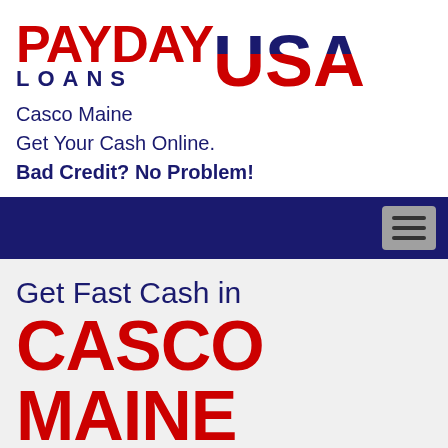[Figure (logo): Payday Loans USA logo with red PAYDAY text and blue/red USA text with stars]
Casco Maine
Get Your Cash Online.
Bad Credit? No Problem!
Get Fast Cash in
CASCO MAINE
We're here to help you get short term funds you need in the shortest time possible. When you need fastest swift personal loan we can help. Our online, services can get you your speedy personal loan in the shortest time possible.